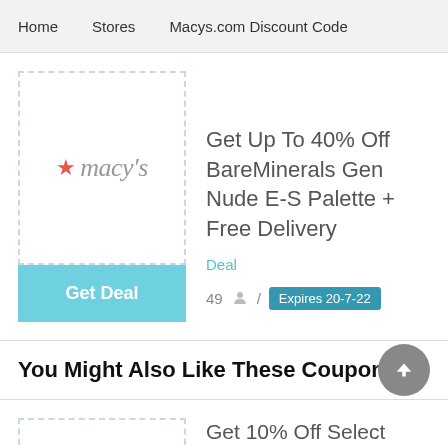Home   Stores   Macys.com Discount Code
[Figure (logo): Macy's logo with red star and italic gray text]
Get Up To 40% Off BareMinerals Gen Nude E-S Palette + Free Delivery
Deal
49 / Expires 20-7-22
Get Deal
You Might Also Like These Coupons
Get 10% Off Select Items Ergocroft Contract